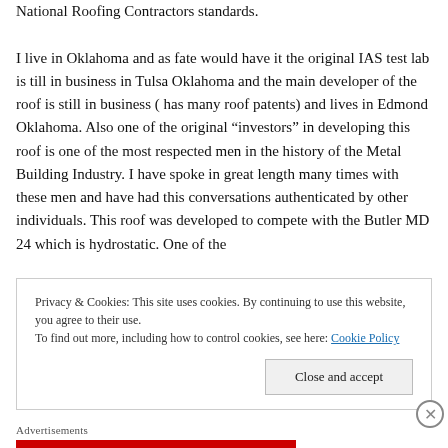National Roofing Contractors standards.

I live in Oklahoma and as fate would have it the original IAS test lab is till in business in Tulsa Oklahoma and the main developer of the roof is still in business ( has many roof patents) and lives in Edmond Oklahoma. Also one of the original “investors” in developing this roof is one of the most respected men in the history of the Metal Building Industry. I have spoke in great length many times with these men and have had this conversations authenticated by other individuals. This roof was developed to compete with the Butler MD 24 which is hydrostatic. One of the
Privacy & Cookies: This site uses cookies. By continuing to use this website, you agree to their use.
To find out more, including how to control cookies, see here: Cookie Policy
Close and accept
Advertisements